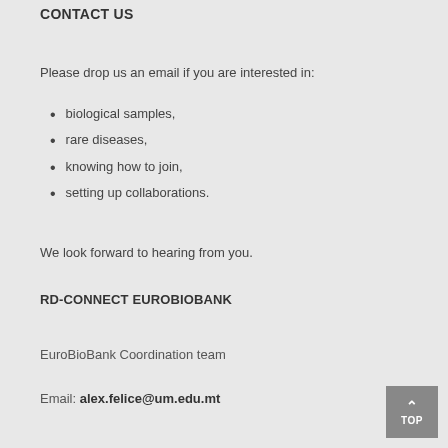CONTACT US
Please drop us an email if you are interested in:
biological samples,
rare diseases,
knowing how to join,
setting up collaborations.
We look forward to hearing from you.
RD-CONNECT EUROBIOBANK
EuroBioBank Coordination team
Email: alex.felice@um.edu.mt